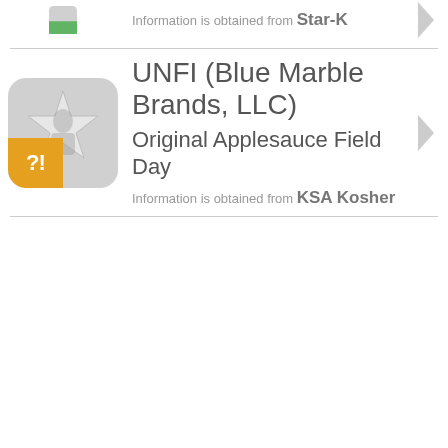[Figure (logo): Partial kosher certification icon at top, cropped]
Information is obtained from Star-K
[Figure (logo): Kosher certification icon with grey star and orange question mark badge]
UNFI (Blue Marble Brands, LLC)
Original Applesauce Field Day
Information is obtained from KSA Kosher